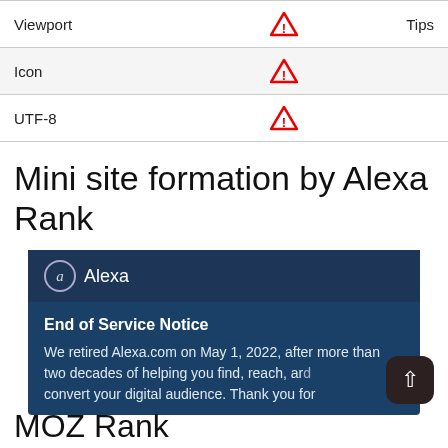|  |  | Tips |
| --- | --- | --- |
| Viewport | ⚠ | Tips |
| Icon | ⚠ |  |
| UTF-8 | ⚠ |  |
Mini site formation by Alexa Rank
[Figure (screenshot): Alexa website banner showing End of Service Notice: 'We retired Alexa.com on May 1, 2022, after more than two decades of helping you find, reach, and convert your digital audience. Thank you for...']
MOZ Rank